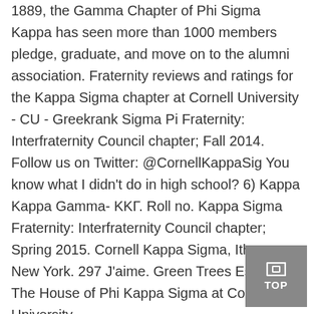1889, the Gamma Chapter of Phi Sigma Kappa has seen more than 1000 members pledge, graduate, and move on to the alumni association. Fraternity reviews and ratings for the Kappa Sigma chapter at Cornell University - CU - Greekrank Sigma Pi Fraternity: Interfraternity Council chapter; Fall 2014. Follow us on Twitter: @CornellKappaSig You know what I didn't do in high school? 6) Kappa Kappa Gamma- KKΓ. Roll no. Kappa Sigma Fraternity: Interfraternity Council chapter; Spring 2015. Cornell Kappa Sigma, Ithaca, New York. 297 J'aime. Green Trees Estate is The House of Phi Kappa Sigma at Cornell University,